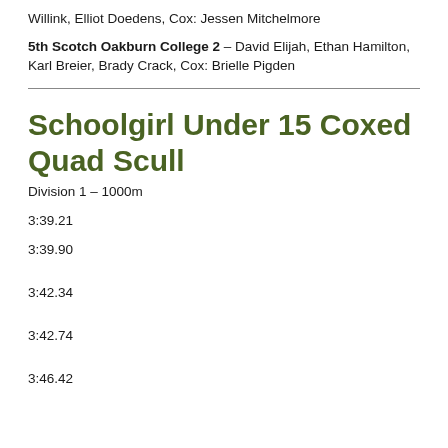Willink, Elliot Doedens, Cox: Jessen Mitchelmore
5th Scotch Oakburn College 2 – David Elijah, Ethan Hamilton, Karl Breier, Brady Crack, Cox: Brielle Pigden
Schoolgirl Under 15 Coxed Quad Scull
Division 1 – 1000m
3:39.21
3:39.90
3:42.34
3:42.74
3:46.42